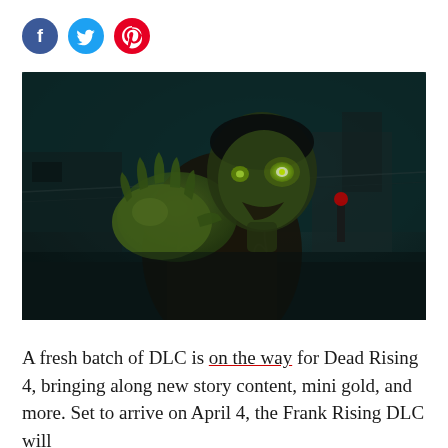[Figure (other): Three social media sharing icons: Facebook (blue circle with f), Twitter (blue circle with bird), Pinterest (red circle with P)]
[Figure (screenshot): Dark atmospheric video game screenshot from Dead Rising 4 showing a zombie character with glowing green eyes reaching toward the camera at night, with urban background elements]
A fresh batch of DLC is on the way for Dead Rising 4, bringing along new story content, mini gold, and more. Set to arrive on April 4, the Frank Rising DLC will